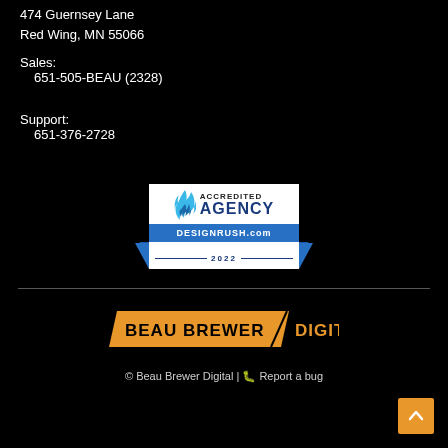474 Guernsey Lane
Red Wing, MN 55066
Sales:
    651-505-BEAU (2328)
Support:
    651-376-2728
[Figure (logo): DesignRush.com Accredited Agency 2022 badge with blue flame icon and blue banner]
[Figure (logo): Beau Brewer Digital logo with orange parallelogram background and orange text]
© Beau Brewer Digital | 🐛 Report a bug